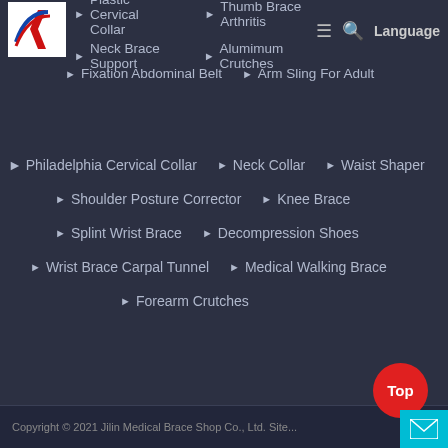Plastic Cervical Collar | Thumb Brace Arthritis | Neck Brace Support | Alumimum Crutches
Fixation Abdominal Belt
Arm Sling For Adult
Philadelphia Cervical Collar
Neck Collar
Waist Shaper
Shoulder Posture Corrector
Knee Brace
Splint Wrist Brace
Decompression Shoes
Wrist Brace Carpal Tunnel
Medical Walking Brace
Forearm Crutches
Copyright © 2021 Jilin Medical Brace Shop Co., Ltd. Site...